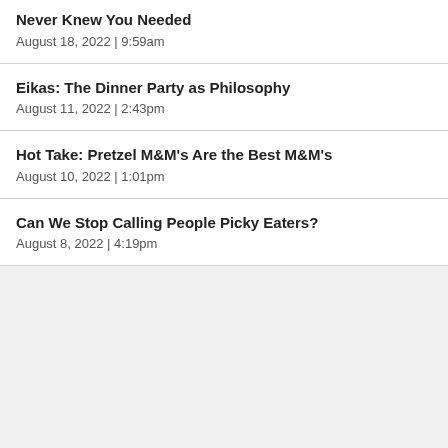Never Knew You Needed
August 18, 2022  |  9:59am
Eikas: The Dinner Party as Philosophy
August 11, 2022  |  2:43pm
Hot Take: Pretzel M&M's Are the Best M&M's
August 10, 2022  |  1:01pm
Can We Stop Calling People Picky Eaters?
August 8, 2022  |  4:19pm